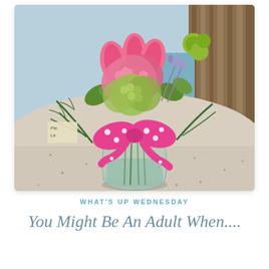[Figure (photo): A floral arrangement in a clear glass round vase sitting on a granite countertop. The bouquet features pink tulips, pink and green hydrangeas, green button mums, ferns, and lavender sprigs tied with a pink and white polka dot ribbon bow. The background shows a light blue wall and a wood-paneled column or wall feature.]
WHAT'S UP WEDNESDAY
You Might Be An Adult When....